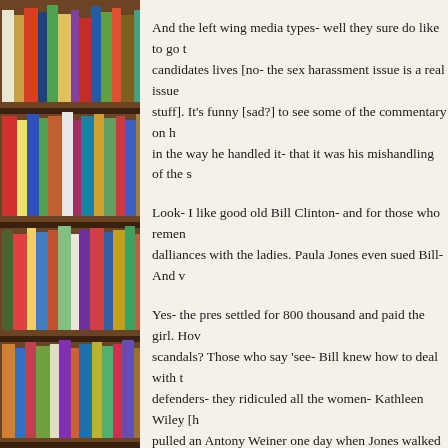[Figure (photo): Photograph of colorful books arranged on wooden bookshelves, occupying the left side of the page.]
And the left wing media types- well they sure do like to go into candidates lives [no- the sex harassment issue is a real issue- not stuff]. It's funny [sad?] to see some of the commentary on how he handled it- that it was his mishandling of the s
Look- I like good old Bill Clinton- and for those who remember his dalliances with the ladies. Paula Jones even sued Bill- And w
Yes- the pres settled for 800 thousand and paid the girl. How scandals? Those who say 'see- Bill knew how to deal with t defenders- they ridiculed all the women- Kathleen Wiley [h pulled an Antony Weiner one day when Jones walked into th forget [well- actually I do forget the name] one woman had Clinton did indeed rape her.
And of course- he 'received' oral sex from Monica in the ov were described as 'off balance' or greedy women seeking a for it'. Yes- this was the way the Clinton defenders went abo savvy folk [Carville] are saying 'Clinton knew how to deal
Would they be happy if Cain's people went after all the wom